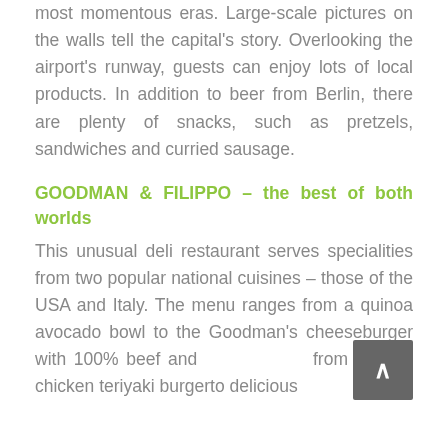most momentous eras. Large-scale pictures on the walls tell the capital's story. Overlooking the airport's runway, guests can enjoy lots of local products. In addition to beer from Berlin, there are plenty of snacks, such as pretzels, sandwiches and curried sausage.
GOODMAN & FILIPPO – the best of both worlds
This unusual deli restaurant serves specialities from two popular national cuisines – those of the USA and Italy. The menu ranges from a quinoa avocado bowl to the Goodman's cheeseburger with 100% beef and from a spicy chicken teriyaki burgerto delicious